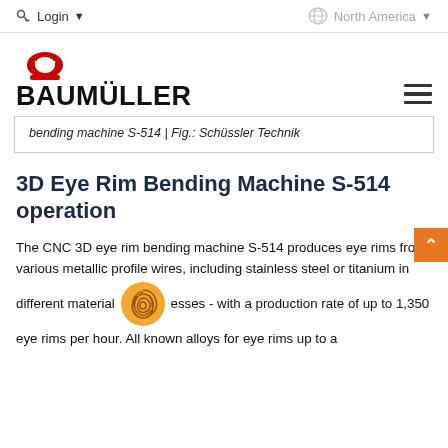Login  ↓   North America ↓
[Figure (logo): Baumueller logo with red scales-of-justice icon above bold BAUMÜLLER wordmark, and hamburger menu icon on the right]
bending machine S-514 | Fig.: Schüssler Technik
3D Eye Rim Bending Machine S-514 operation
The CNC 3D eye rim bending machine S-514 produces eye rims from various metallic profile wires, including stainless steel or titanium in different material esses - with a production rate of up to 1,350 eye rims per hour. All known alloys for eye rims up to a